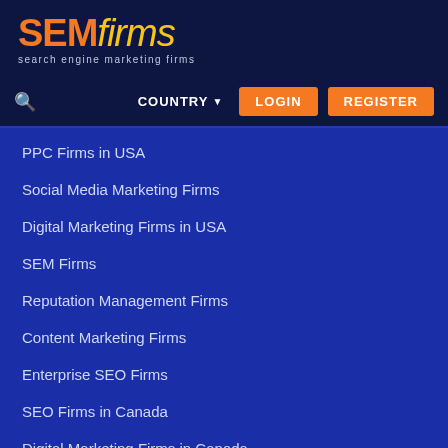[Figure (logo): SEMfirms logo with orange SEM and yellow italic firms text, tagline 'search engine marketing firms']
COUNTRY ▾  LOGIN  REGISTER
PPC Firms in USA
Social Media Marketing Firms
Digital Marketing Firms in USA
SEM Firms
Reputation Management Firms
Content Marketing Firms
Enterprise SEO Firms
SEO Firms in Canada
Digital Marketing Firms in Canada
PPC Firms in Canada